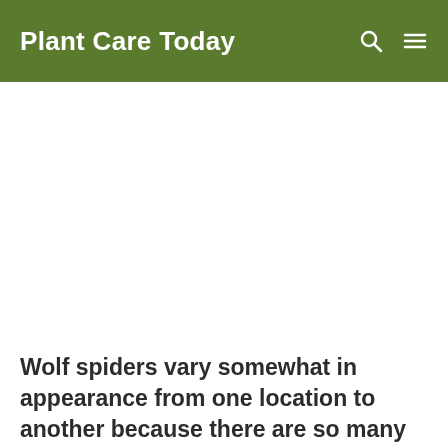Plant Care Today
[Figure (other): Blank white advertisement/content area]
Wolf spiders vary somewhat in appearance from one location to another because there are so many different types within one family. Wolf spiders all belong to the spider family